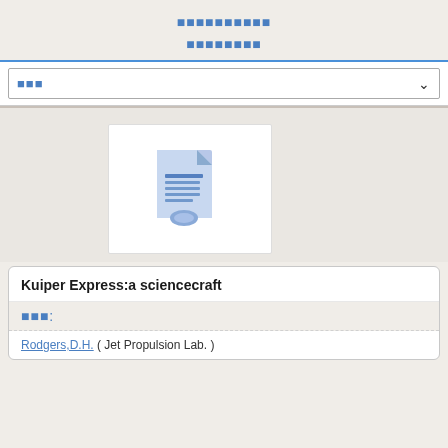■■■■■■■■■■ ■■■■■■■■
■■■
[Figure (illustration): Document/report icon in blue tones showing a page with text lines and a circular element at the bottom]
Kuiper Express:a sciencecraft
■■■:
Rodgers,D.H. ( Jet Propulsion Lab. )